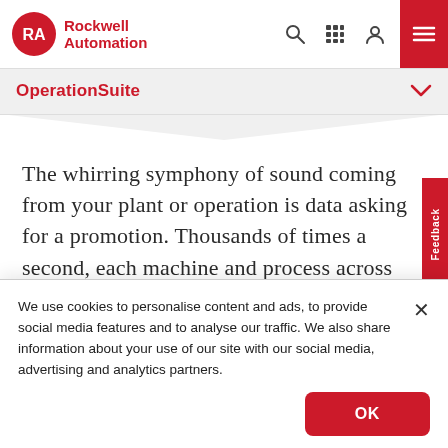[Figure (logo): Rockwell Automation logo with red RA circle icon and bold red text]
OperationSuite
The whirring symphony of sound coming from your plant or operation is data asking for a promotion. Thousands of times a second, each machine and process across your plant
We use cookies to personalise content and ads, to provide social media features and to analyse our traffic. We also share information about your use of our site with our social media, advertising and analytics partners.
OK